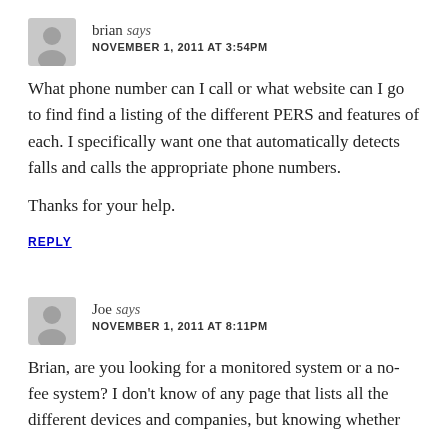brian says
NOVEMBER 1, 2011 AT 3:54PM
What phone number can I call or what website can I go to find find a listing of the different PERS and features of each. I specifically want one that automatically detects falls and calls the appropriate phone numbers.

Thanks for your help.
REPLY
Joe says
NOVEMBER 1, 2011 AT 8:11PM
Brian, are you looking for a monitored system or a no-fee system? I don't know of any page that lists all the different devices and companies, but knowing whether